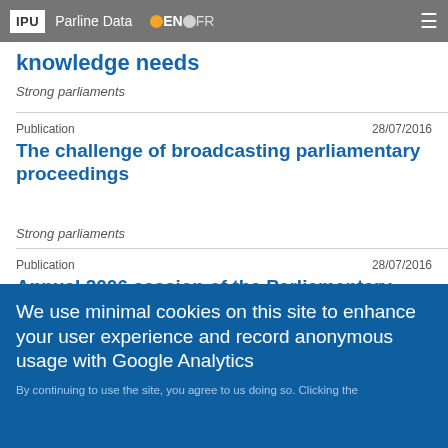IPU Parline Data EN FR
knowledge needs
Strong parliaments
Publication 28/07/2016
The challenge of broadcasting parliamentary proceedings
Strong parliaments
Publication 28/07/2016
Annual 2006 session of the Parliamentary Conference on the WTO
We use minimal cookies on this site to enhance your user experience and record anonymous usage with Google Analytics